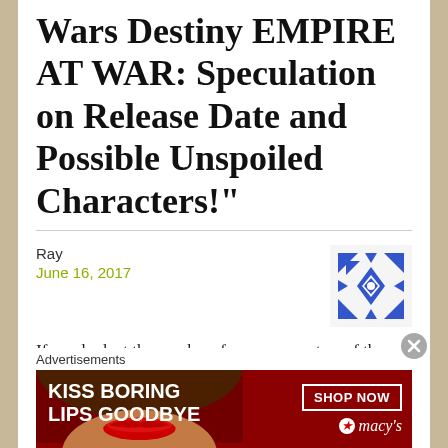Wars Destiny EMPIRE AT WAR: Speculation on Release Date and Possible Unspoiled Characters!”
Ray
June 16, 2017
[Figure (illustration): Blue and white decorative geometric/snowflake avatar icon]
If you look at the numbers for mace, masters of the council and ezra… im thinking that we are going to see 5 characters and 2 upgrades for each colour/faction. Numbers line up with a single grey villain support or upgrade.
Advertisements
[Figure (photo): Macy's advertisement banner - KISS BORING LIPS GOODBYE with SHOP NOW button and macy's logo on dark red background]